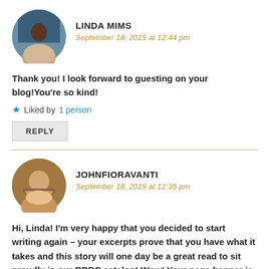[Figure (photo): Circular avatar photo of Linda Mims, a woman with short hair against a blue background]
LINDA MIMS
September 18, 2015 at 12:44 pm
Thank you! I look forward to guesting on your blog!You're so kind!
Liked by 1 person
REPLY
[Figure (photo): Circular avatar photo of JohnFioravanti, a man with glasses smiling]
JOHNFIORAVANTI
September 18, 2015 at 12:35 pm
Hi, Linda! I'm very happy that you decided to start writing again – your excerpts prove that you have what it takes and this story will one day be a great read to sit proudly in our RRBC catalog! Wow! Your page banner is fantastic! Have a great day on your Block Party!!